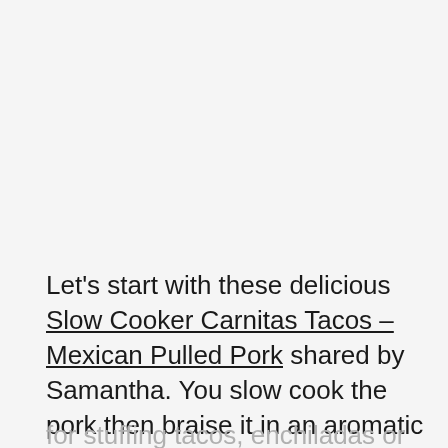Let's start with these delicious Slow Cooker Carnitas Tacos – Mexican Pulled Pork shared by Samantha. You slow cook the pork then braise it in an aromatic broth and finish it off under the broiler. The tender meat is perfect
for stuffing tacos, enchiladas or quesadilas so